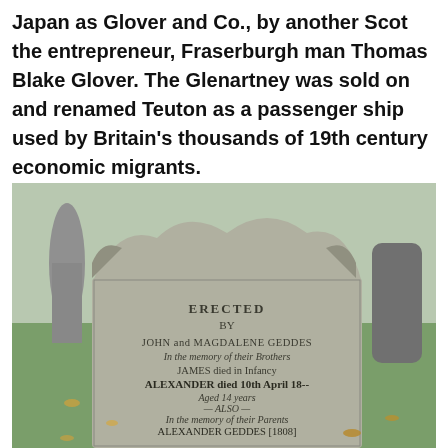Japan as Glover and Co., by another Scot the entrepreneur, Fraserburgh man Thomas Blake Glover. The Glenartney was sold on and renamed Teuton as a passenger ship used by Britain's thousands of 19th century economic migrants.
[Figure (photo): Photograph of an old weathered stone gravestone in a cemetery with grass in the background. The inscription reads: ERECTED BY JOHN and MAGDALENE GEDDES In the memory of their Brothers JAMES died in Infancy ALEXANDER died 10th April [18--] Aged 14 years ALSO In the memory of their Parents ALEXANDER GEDDES [1808] who died 19th January [1866] aged 38 years ISABELLA STRACHAN his spouse who died [date] January [1848] aged [66] years MAGDALENE GEDDES died [at Hudson?] on New Orleans Avenue aged [1]8--]